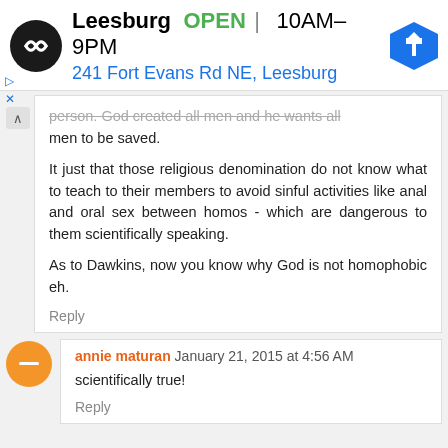[Figure (infographic): Advertisement banner for a store location: Leesburg, OPEN 10AM-9PM, 241 Fort Evans Rd NE, Leesburg, with navigation arrow icon and store logo]
person. God created all men and he wants all men to be saved.

It just that those religious denomination do not know what to teach to their members to avoid sinful activities like anal and oral sex between homos - which are dangerous to them scientifically speaking.

As to Dawkins, now you know why God is not homophobic eh.
Reply
annie maturan January 21, 2015 at 4:56 AM

scientifically true!

Reply